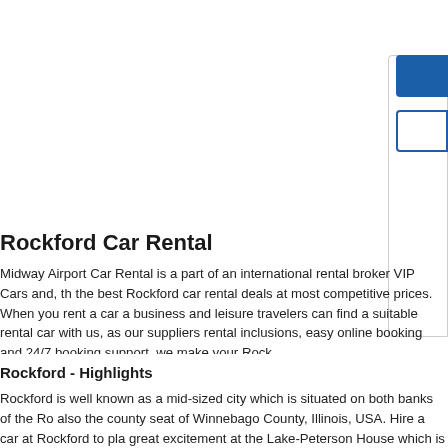[Figure (other): UI buttons/controls area in top right - a solid blue button, an outlined blue button, and a bordered rectangle container]
Rockford Car Rental
Midway Airport Car Rental is a part of an international rental broker VIP Cars and, the best Rockford car rental deals at most competitive prices. When you rent a car business and leisure travelers can find a suitable rental car with us, as our suppliers rental inclusions, easy online booking and 24/7 booking support, we make your Rock
Rockford - Highlights
Rockford is well known as a mid-sized city which is situated on both banks of the Ro also the county seat of Winnebago County, Illinois, USA. Hire a car at Rockford to pl great excitement at the Lake-Peterson House which is the former home of Pehr Aug of the Swedish Historical Society of Rockford.
Rockford Car Hire deals offered by us provide you with liberty to plan your stay. Des sculptures by Carl Milles. Klehm Arboretum and Botanic Garden is spread over 150
Rent a car at Rockford for better view of the city landmarks!